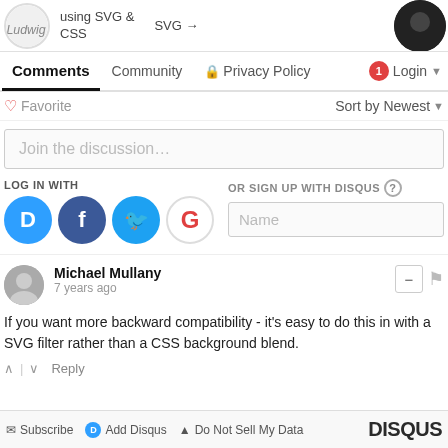— Ludwig Wi... | using SVG & CSS | SVG →
Comments  Community  🔒 Privacy Policy  🔴1 Login ▼
♡ Favorite   Sort by Newest ▼
Join the discussion…
LOG IN WITH   OR SIGN UP WITH DISQUS ?   Name
Michael Mullany
7 years ago
If you want more backward compatibility - it's easy to do this in with a SVG filter rather than a CSS background blend.
∧ | ∨  Reply
✉ Subscribe   D Add Disqus   ▲ Do Not Sell My Data   DISQUS